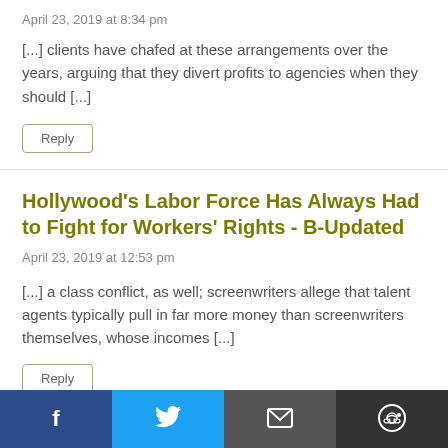April 23, 2019 at 8:34 pm
[...] clients have chafed at these arrangements over the years, arguing that they divert profits to agencies when they should [...]
Reply
Hollywood's Labor Force Has Always Had to Fight for Workers' Rights - B-Updated
April 23, 2019 at 12:53 pm
[...] a class conflict, as well; screenwriters allege that talent agents typically pull in far more money than screenwriters themselves, whose incomes [...]
Facebook Twitter Email Reddit